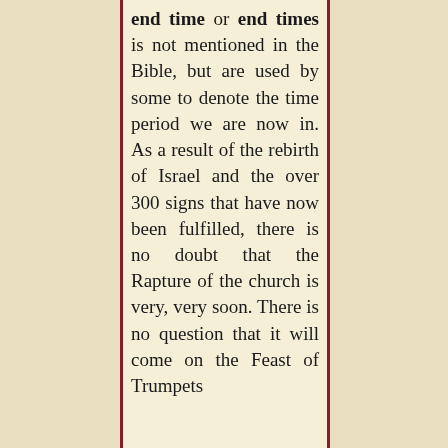end time or end times is not mentioned in the Bible, but are used by some to denote the time period we are now in. As a result of the rebirth of Israel and the over 300 signs that have now been fulfilled, there is no doubt that the Rapture of the church is very, very soon. There is no question that it will come on the Feast of Trumpets